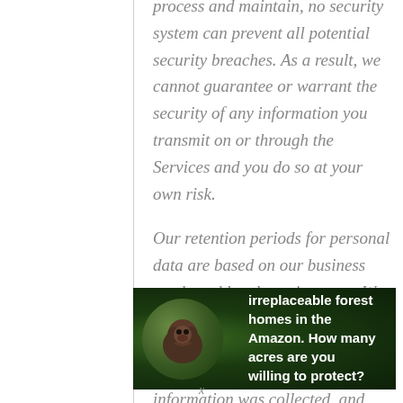process and maintain, no security system can prevent all potential security breaches. As a result, we cannot guarantee or warrant the security of any information you transmit on or through the Services and you do so at your own risk.
Our retention periods for personal data are based on our business needs and legal requirements. We retain personal data for as long as is necessary for the processing purpose(s) for which the information was collected, and any other permissible, related
[Figure (infographic): Advertisement banner with dark green forest background showing an orangutan. Text reads: 'Just $2 can protect 1 acre of irreplaceable forest homes in the Amazon. How many acres are you willing to protect?' with a green 'PROTECT FORESTS NOW' button.]
x